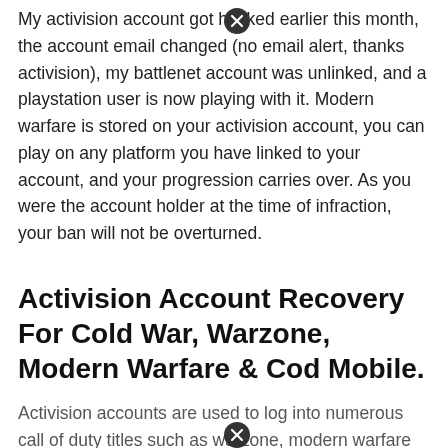My activision account got hacked earlier this month, the account email changed (no email alert, thanks activision), my battlenet account was unlinked, and a playstation user is now playing with it. Modern warfare is stored on your activision account, you can play on any platform you have linked to your account, and your progression carries over. As you were the account holder at the time of infraction, your ban will not be overturned.
Activision Account Recovery For Cold War, Warzone, Modern Warfare & Cod Mobile.
Activision accounts are used to log into numerous call of duty titles such as warzone, modern warfare and cod mobile;